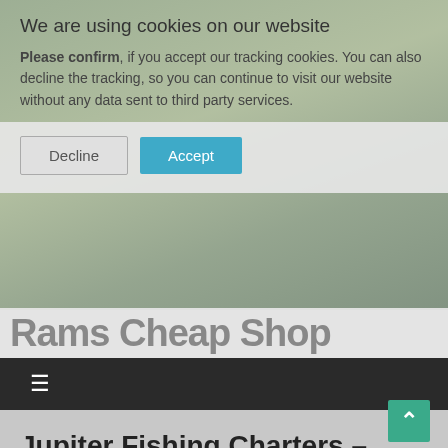We are using cookies on our website
Please confirm, if you accept our tracking cookies. You can also decline the tracking, so you can continue to visit our website without any data sent to third party services.
Decline | Accept
Rams Cheap Shop
[Figure (screenshot): Navigation hamburger menu icon on dark background nav bar]
Jupiter Fishing Charters – Look At This..
[Figure (screenshot): Scroll to top button (teal, arrow up) in bottom right corner]
Have you wanted to book an inshore charter recently but